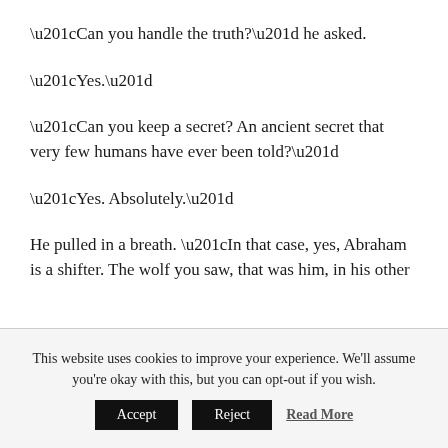“Can you handle the truth?” he asked.
“Yes.”
“Can you keep a secret? An ancient secret that very few humans have ever been told?”
“Yes. Absolutely.”
He pulled in a breath. “In that case, yes, Abraham is a shifter. The wolf you saw, that was him, in his other
This website uses cookies to improve your experience. We'll assume you're okay with this, but you can opt-out if you wish.
Accept   Reject   Read More